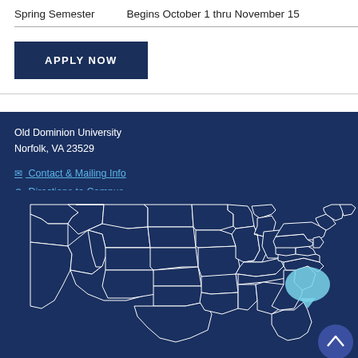Spring Semester    Begins October 1 thru November 15
APPLY NOW
Old Dominion University
Norfolk, VA 23529
✉ Contact & Mailing Info
⊙ Directions to Campus
[Figure (map): Outline map of the contiguous United States on a dark navy blue background, with white state boundary lines. A light blue teardrop/bubble marker is shown over the Virginia area on the east coast.]